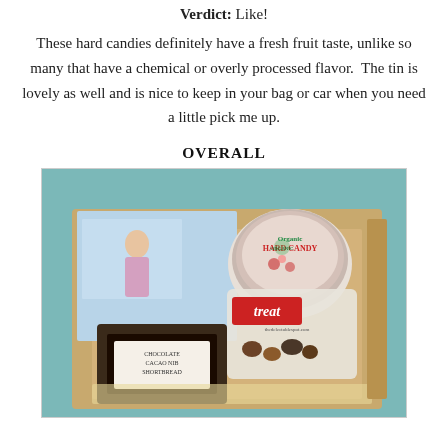Verdict: Like!
These hard candies definitely have a fresh fruit taste, unlike so many that have a chemical or overly processed flavor.  The tin is lovely as well and is nice to keep in your bag or car when you need a little pick me up.
OVERALL
[Figure (photo): A box of assorted snack items including a tin of organic hard candy, a 'treat' branded bag of nuts/snacks, and a chocolate cacao nib shortbread package, arranged in a gift box with a brochure in the background.]